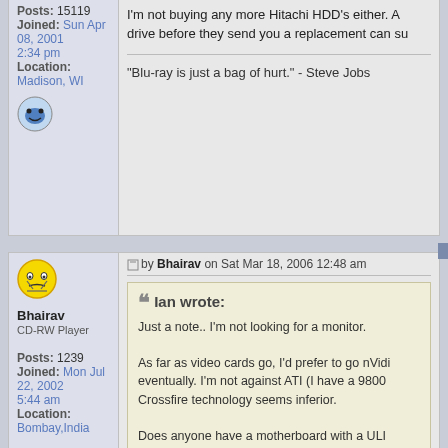Posts: 15119
Joined: Sun Apr 08, 2001 2:34 pm
Location: Madison, WI
I'm not buying any more Hitachi HDD's either. A drive before they send you a replacement can su
"Blu-ray is just a bag of hurt." - Steve Jobs
[Figure (illustration): Smiley face avatar icon for user Bhairav]
Bhairav
CD-RW Player
Posts: 1239
Joined: Mon Jul 22, 2002 5:44 am
Location: Bombay,India
Post by Bhairav on Sat Mar 18, 2006 12:48 am
Ian wrote:
Just a note.. I'm not looking for a monitor.

As far as video cards go, I'd prefer to go nVidi eventually. I'm not against ATI (I have a 9800 Crossfire technology seems inferior.

Does anyone have a motherboard with a ULI seem to have some pretty innovative features

I'm not buying any more Hitachi HDD's either. a drive before they send you a replacement ca
I have an Asrock 939 DualSata2 board, based of crappy build quality. Good ocer as well.